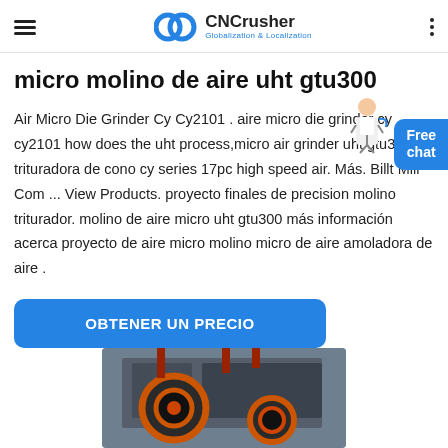CNCrusher Globalization & Localization
micro molino de aire uht gtu300
Air Micro Die Grinder Cy Cy2101 . aire micro die grinder cy cy2101 how does the uht process,micro air grinder uht gtu300 trituradora de cono cy series 17pc high speed air. Más. Billt Mill Com ... View Products. proyecto finales de precision molino triturador. molino de aire micro uht gtu300 más información acerca proyecto de aire micro molino micro de aire amoladora de aire .
[Figure (other): Blue 'Free chat' button with a customer service person illustration]
[Figure (other): Button labeled OBTENER UN PRECIO in blue rounded rectangle]
[Figure (photo): Industrial crushing machine equipment with large orange/black circular gear wheels in front of a building]